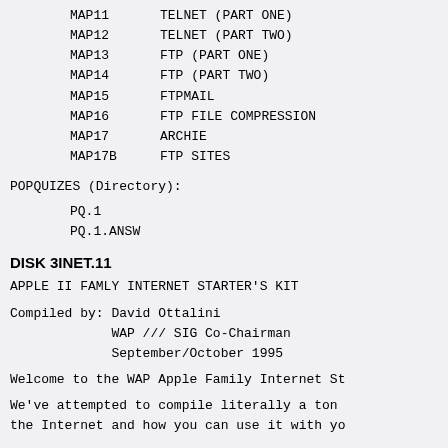MAP11    TELNET (PART ONE)
MAP12    TELNET (PART TWO)
MAP13    FTP (PART ONE)
MAP14    FTP (PART TWO)
MAP15    FTPMAIL
MAP16    FTP FILE COMPRESSION
MAP17    ARCHIE
MAP17B   FTP SITES
POPQUIZES (Directory):
PQ.1
PQ.1.ANSW
DISK 3INET.11
APPLE II FAMLY INTERNET STARTER'S KIT
Compiled by: David Ottalini
             WAP /// SIG Co-Chairman
             September/October 1995
Welcome to the WAP Apple Family Internet St
We've attempted to compile literally a ton
the Internet and how you can use it with yo